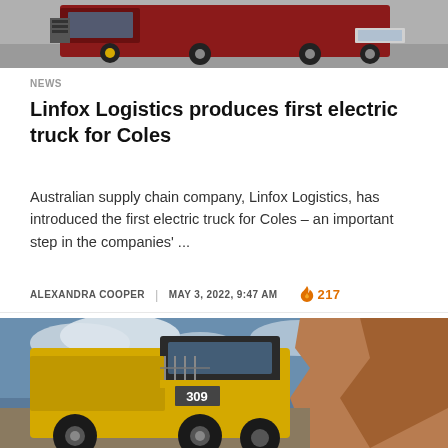[Figure (photo): Partial view of a red truck, bottom portion visible, photographed from front-low angle on a road]
NEWS
Linfox Logistics produces first electric truck for Coles
Australian supply chain company, Linfox Logistics, has introduced the first electric truck for Coles – an important step in the companies' ...
ALEXANDRA COOPER | MAY 3, 2022, 9:47 AM  🔥 217
[Figure (photo): A large yellow mining dump truck numbered 309 parked near a rocky cliff face under a partly cloudy sky]